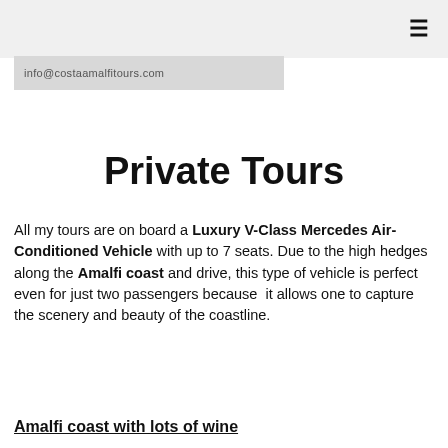≡
info@costaamalfitours.com
Private Tours
All my tours are on board a Luxury V-Class Mercedes Air-Conditioned Vehicle with up to 7 seats. Due to the high hedges along the Amalfi coast and drive, this type of vehicle is perfect even for just two passengers because it allows one to capture the scenery and beauty of the coastline.
Amalfi coast with lots of wine